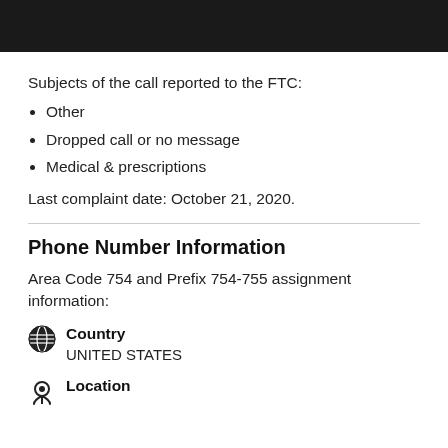[Figure (photo): Dark/black image at the top of the page]
Subjects of the call reported to the FTC:
Other
Dropped call or no message
Medical & prescriptions
Last complaint date: October 21, 2020.
Phone Number Information
Area Code 754 and Prefix 754-755 assignment information:
Country
UNITED STATES
Location